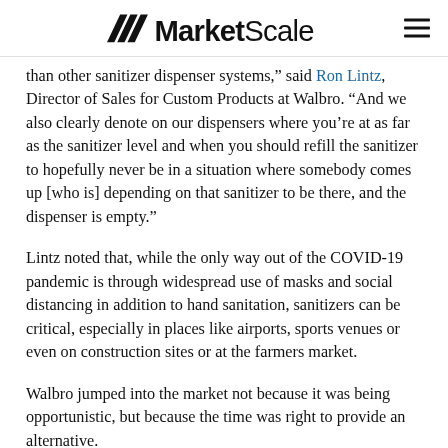MarketScale
than other sanitizer dispenser systems," said Ron Lintz, Director of Sales for Custom Products at Walbro. “And we also clearly denote on our dispensers where you’re at as far as the sanitizer level and when you should refill the sanitizer to hopefully never be in a situation where somebody comes up [who is] depending on that sanitizer to be there, and the dispenser is empty.”
Lintz noted that, while the only way out of the COVID-19 pandemic is through widespread use of masks and social distancing in addition to hand sanitation, sanitizers can be critical, especially in places like airports, sports venues or even on construction sites or at the farmers market.
Walbro jumped into the market not because it was being opportunistic, but because the time was right to provide an alternative.